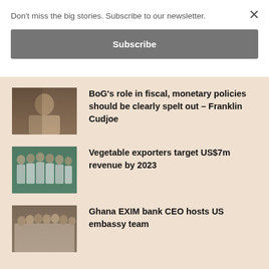Don't miss the big stories. Subscribe to our newsletter.
Subscribe
[Figure (photo): Thumbnail photo of a man in a room]
BoG's role in fiscal, monetary policies should be clearly spelt out – Franklin Cudjoe
[Figure (photo): Thumbnail photo of a group of people in white coats]
Vegetable exporters target US$7m revenue by 2023
[Figure (photo): Thumbnail photo of a group of people standing together]
Ghana EXIM bank CEO hosts US embassy team